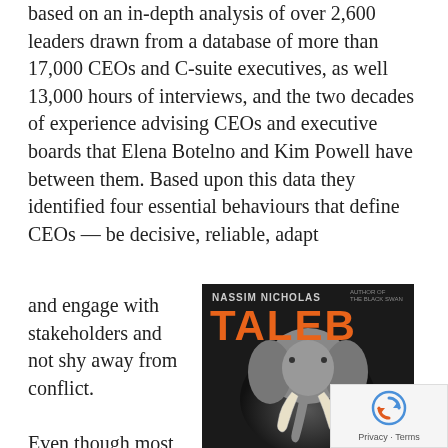based on an in-depth analysis of over 2,600 leaders drawn from a database of more than 17,000 CEOs and C-suite executives, as well 13,000 hours of interviews, and the two decades of experience advising CEOs and executive boards that Elena Botelno and Kim Powell have between them. Based upon this data they identified four essential behaviours that define CEOs — be decisive, reliable, adapt and engage with stakeholders and not shy away from conflict.
[Figure (illustration): Book cover showing 'NASSIM NICHOLAS TALEB' with a large orange TALEB text and an elephant in dark/black tones]
Even though most of these
[Figure (logo): reCAPTCHA privacy badge with circular arrow logo and Privacy - Terms text]